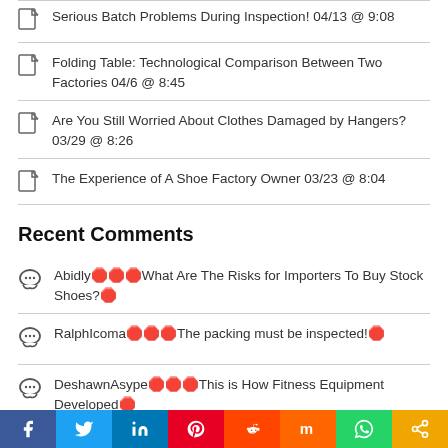Serious Batch Problems During Inspection! 04/13 @ 9:08
Folding Table: Technological Comparison Between Two Factories 04/6 @ 8:45
Are You Still Worried About Clothes Damaged by Hangers? 03/29 @ 8:26
The Experience of A Shoe Factory Owner 03/23 @ 8:04
Recent Comments
Abidly on What Are The Risks for Importers To Buy Stock Shoes?
RalphIcoma on The packing must be inspected!
DeshawnAsype on This is How Fitness Equipment Developed